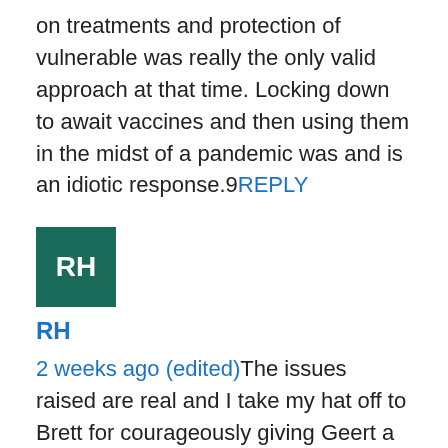on treatments and protection of vulnerable was really the only valid approach at that time. Locking down to await vaccines and then using them in the midst of a pandemic was and is an idiotic response.9 REPLY
[Figure (other): Avatar square with initials RH on dark teal background]
RH
2 weeks ago (edited) The issues raised are real and I take my hat off to Brett for courageously giving Geert a platform to discuss and educate us954 REPLY View 66 replies
[Figure (other): Avatar square with initial K on dark brown/maroon background]
Katharine Jennings